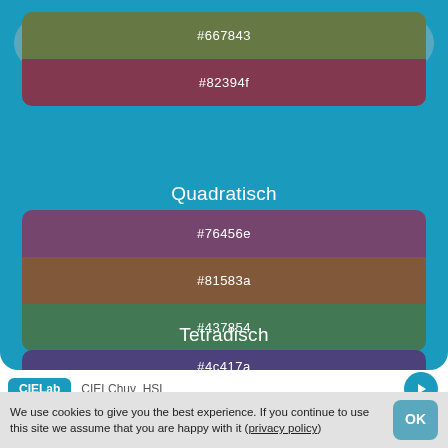[Figure (screenshot): Color palette app UI showing color swatches with hex codes grouped under 'Quadratisch' and 'Tetradisch' sections on a teal background]
#667843
#82394f
Quadratisch
#76456e
#81583a
#437854
Tetradisch
#4c417a
#81583a
#667843
CIELab   CIELChuv   HSL
We use cookies to give you the best experience. If you continue to use this site we assume that you are happy with it (privacy policy)